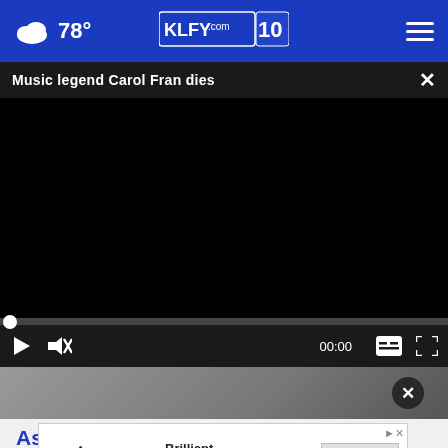78° KLFY.com 10
Music legend Carol Fran dies
[Figure (screenshot): Black video player with progress bar at 00:00, play button, mute button, closed caption button, and fullscreen button on dark control bar]
Ash... Replaced With This Special Program
[Figure (other): Veris Residential advertisement banner: 'Brilliant living spaces.' with LEARN MORE button]